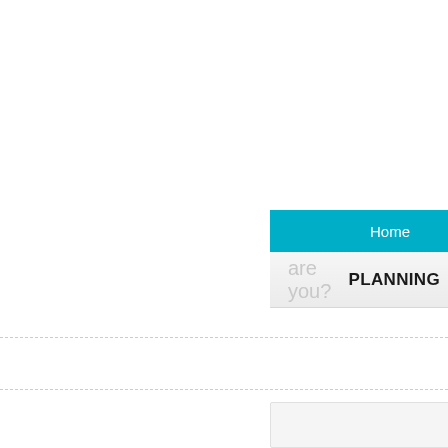Home
are you?
PLANNING
0 COMMENTS
The seve clients
Tuesday, 29 Januar